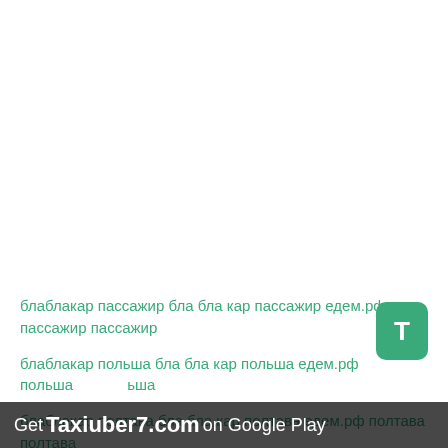блаблакар пассажир бла бла кар пассажир едем.рф пассажир пассажир
блаблакар польша бла бла кар польша едем.рф польша польша
блаблакар полтава бла бла кар полтава едем.рф полтава полтава
блаблакар пермь бла бла кар пермь едем.рф пермь пермь
[Figure (screenshot): Get Taxiuber7.com on Google Play banner with T icon]